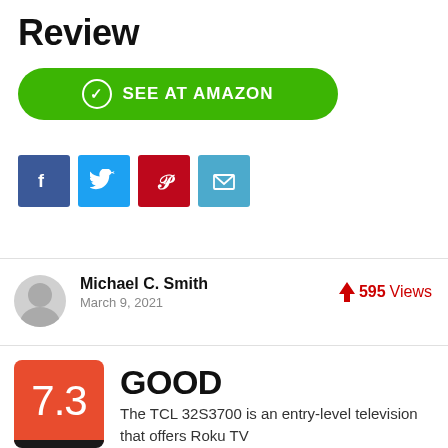Review
[Figure (other): Green 'SEE AT AMAZON' button with checkmark icon]
[Figure (other): Social sharing icons: Facebook (blue), Twitter (light blue), Pinterest (red), Email (teal)]
[Figure (other): Author avatar placeholder (grey circle)]
Michael C. Smith
March 9, 2021
⚡ 595 Views
[Figure (other): Score box showing 7.3 on orange/red background with black bottom bar]
GOOD
The TCL 32S3700 is an entry-level television that offers Roku TV